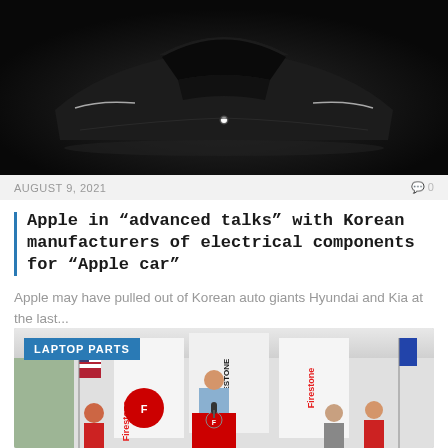[Figure (photo): Dark silhouette of a sleek car (Apple Car concept) with subtle headlight accents and an Apple logo glowing in the center grille area, on a black gradient background]
AUGUST 9, 2021
Apple in “advanced talks” with Korean manufacturers of electrical components for “Apple car”
Apple may have pulled out of Korean auto giants Hyundai and Kia at the last...
[Figure (photo): Outdoor event under a tent with a man at a podium, Bridgestone and Firestone branded banners visible, American flag and blue flag in background, several people seated]